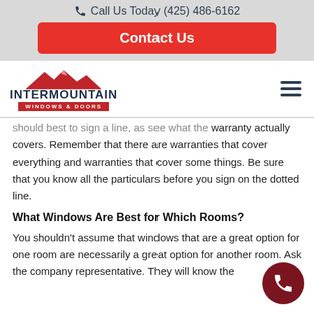Call Us Today (425) 486-6162
Contact Us
[Figure (logo): Intermountain Windows & Doors logo with red mountain silhouette]
should best to sign a line, as see what the warranty actually covers. Remember that there are warranties that cover everything and warranties that cover some things. Be sure that you know all the particulars before you sign on the dotted line.
What Windows Are Best for Which Rooms?
You shouldn't assume that windows that are a great option for one room are necessarily a great option for another room. Ask the company representative. They will know the